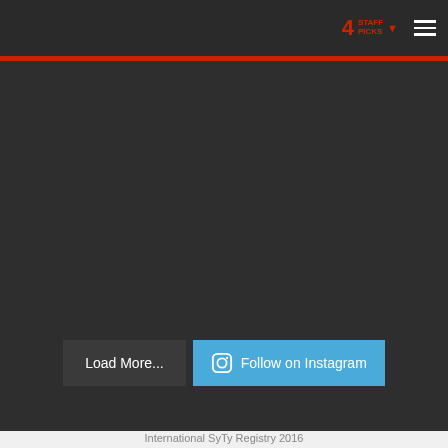4 STAFF PICKS
[Figure (photo): A sign reading CLUB PARKING at the top with a green background, and below it SYTY SPORT MACHINES in bold black text with an arrow pointing right. A play button overlay is visible. Background shows grass and gravel with a vehicle wheel visible.]
Load More...
Follow on Instagram
International SyTy Registry 2016